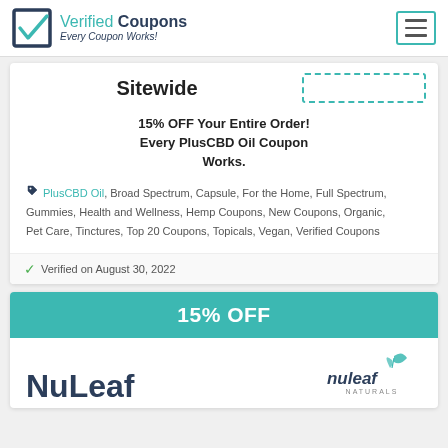Verified Coupons — Every Coupon Works!
Sitewide
15% OFF Your Entire Order! Every PlusCBD Oil Coupon Works.
PlusCBD Oil, Broad Spectrum, Capsule, For the Home, Full Spectrum, Gummies, Health and Wellness, Hemp Coupons, New Coupons, Organic, Pet Care, Tinctures, Top 20 Coupons, Topicals, Vegan, Verified Coupons
Verified on August 30, 2022
15% OFF
NuLeaf